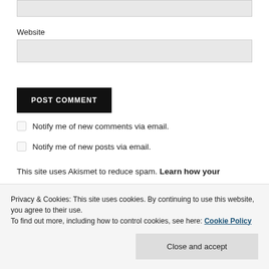Website
POST COMMENT
Notify me of new comments via email.
Notify me of new posts via email.
This site uses Akismet to reduce spam. Learn how your
Privacy & Cookies: This site uses cookies. By continuing to use this website, you agree to their use.
To find out more, including how to control cookies, see here: Cookie Policy
Close and accept